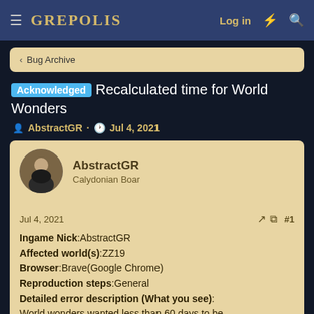GREPOLIS — Log in
< Bug Archive
Acknowledged Recalculated time for World Wonders
AbstractGR · Jul 4, 2021
AbstractGR
Calydonian Boar
Jul 4, 2021  #1
Ingame Nick:AbstractGR
Affected world(s):ZZ19
Browser:Brave(Google Chrome)
Reproduction steps:General
Detailled error description (What you see):
World wonders wanted less than 60 days to be